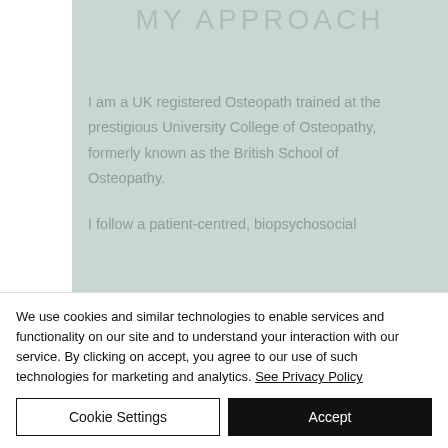MY APPROACH
I am a UK registered Osteopath trained at the prestigious University College of Osteopathy, formerly known as the British School of Osteopathy.
I follow a patient-centred, biopsychosocial
We use cookies and similar technologies to enable services and functionality on our site and to understand your interaction with our service. By clicking on accept, you agree to our use of such technologies for marketing and analytics. See Privacy Policy